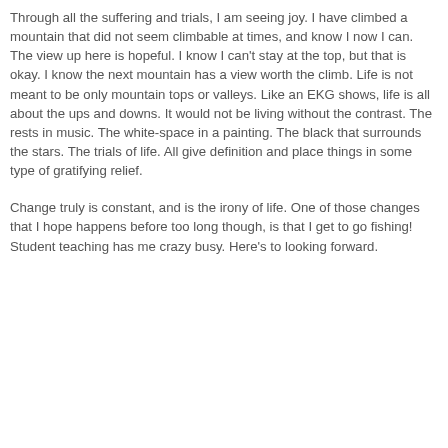Through all the suffering and trials, I am seeing joy. I have climbed a mountain that did not seem climbable at times, and know I now I can. The view up here is hopeful. I know I can't stay at the top, but that is okay. I know the next mountain has a view worth the climb. Life is not meant to be only mountain tops or valleys. Like an EKG shows, life is all about the ups and downs. It would not be living without the contrast. The rests in music. The white-space in a painting. The black that surrounds the stars. The trials of life. All give definition and place things in some type of gratifying relief.
Change truly is constant, and is the irony of life. One of those changes that I hope happens before too long though, is that I get to go fishing! Student teaching has me crazy busy. Here's to looking forward.